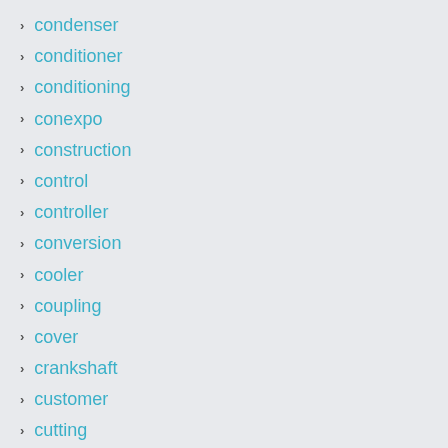condenser
conditioner
conditioning
conexpo
construction
control
controller
conversion
cooler
coupling
cover
crankshaft
customer
cutting
cylinder
daewoo
dangerous
dayco
daytona